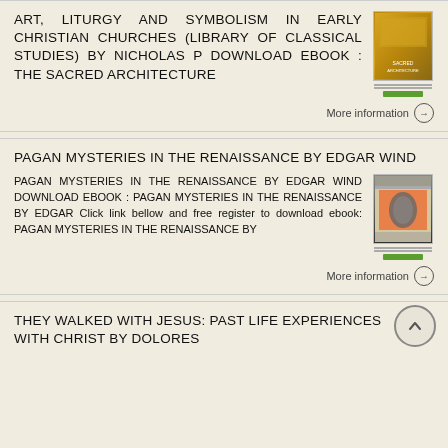ART, LITURGY AND SYMBOLISM IN EARLY CHRISTIAN CHURCHES (LIBRARY OF CLASSICAL STUDIES) BY NICHOLAS P DOWNLOAD EBOOK : THE SACRED ARCHITECTURE
More information →
PAGAN MYSTERIES IN THE RENAISSANCE BY EDGAR WIND
PAGAN MYSTERIES IN THE RENAISSANCE BY EDGAR WIND DOWNLOAD EBOOK : PAGAN MYSTERIES IN THE RENAISSANCE BY EDGAR Click link bellow and free register to download ebook: PAGAN MYSTERIES IN THE RENAISSANCE BY
More information →
THEY WALKED WITH JESUS: PAST LIFE EXPERIENCES WITH CHRIST BY DOLORES